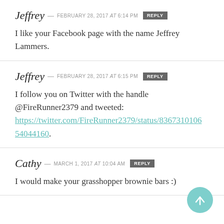Jeffrey – FEBRUARY 28, 2017 at 6:14 PM [REPLY]
I like your Facebook page with the name Jeffrey Lammers.
Jeffrey – FEBRUARY 28, 2017 at 6:15 PM [REPLY]
I follow you on Twitter with the handle @FireRunner2379 and tweeted:
https://twitter.com/FireRunner2379/status/836731010654044160.
Cathy – MARCH 1, 2017 at 10:04 AM [REPLY]
I would make your grasshopper brownie bars :)